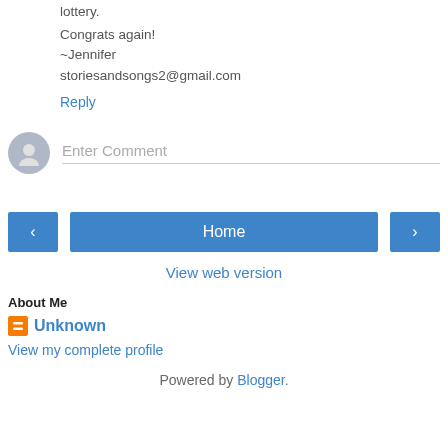lottery.
Congrats again!
~Jennifer
storiesandsongs2@gmail.com
Reply
[Figure (other): User avatar circle with person silhouette icon and Enter Comment placeholder input field]
[Figure (other): Navigation bar with left arrow button, Home button, and right arrow button]
View web version
About Me
Unknown
View my complete profile
Powered by Blogger.